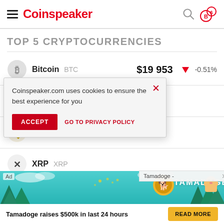Coinspeaker
TOP 5 CRYPTOCURRENCIES
Bitcoin BTC $19 953 -0.51%
Ethereum ETH
BNB BNB
XRP XRP
Coinspeaker.com uses cookies to ensure the best experience for you
ACCEPT   GO TO PRIVACY POLICY
Tamadoge -
[Figure (screenshot): Tamadoge advertisement banner at the bottom with coin logo and dog graphic. Text: Ad, Tamadoge raises $500k in last 24 hours, READ MORE button.]